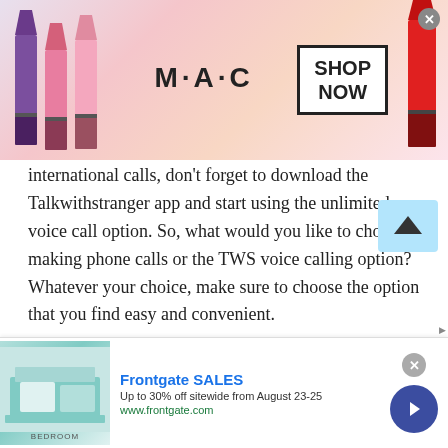[Figure (photo): MAC Cosmetics advertisement banner showing lipsticks on left and right sides, MAC logo in center, SHOP NOW button in a box on the right, close button top right]
international calls, don't forget to download the Talkwithstranger app and start using the unlimited voice call option. So, what would you like to choose making phone calls or the TWS voice calling option? Whatever your choice, make sure to choose the option that you find easy and convenient.
Video cam chat
Nothing is better than having an uninterrupted online video chat. Talking to strangers in Niger via
[Figure (photo): Frontgate SALES advertisement banner showing bedroom furniture, text: Frontgate SALES, Up to 30% off sitewide from August 23-25, www.frontgate.com, with forward navigation button]